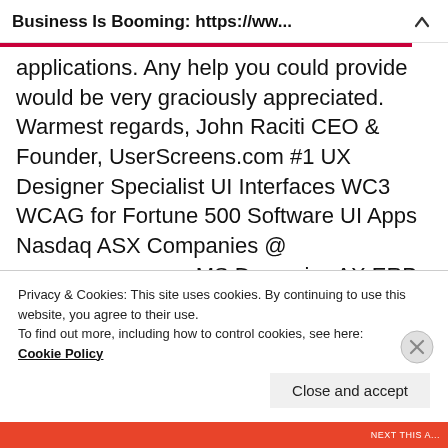Business Is Booming: https://ww...
applications. Any help you could provide would be very graciously appreciated. Warmest regards, John Raciti CEO & Founder, UserScreens.com #1 UX Designer Specialist UI Interfaces WC3 WCAG for Fortune 500 Software UI Apps Nasdaq ASX Companies @ userscreens.com, MS Dynamics AX ERP System, Microsoft Dynamics, Rand Group, Terawe, Experienced Front-end UI/UX Developer | Project Manager | Developer Front-end Full-stack - past clients RBA
Privacy & Cookies: This site uses cookies. By continuing to use this website, you agree to their use.
To find out more, including how to control cookies, see here:
Cookie Policy
Close and accept